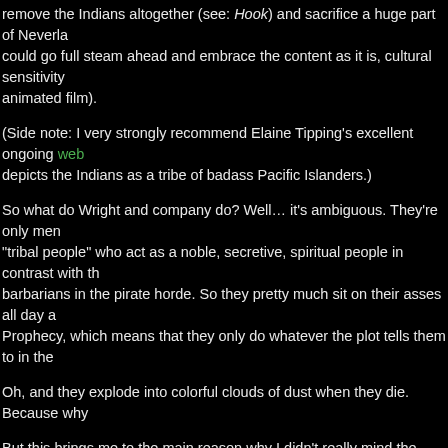remove the Indians altogether (see: Hook) and sacrifice a huge part of Neverla… could go full steam ahead and embrace the content as it is, cultural sensitivity … animated film).
(Side note: I very strongly recommend Elaine Tipping's excellent ongoing web… depicts the Indians as a tribe of badass Pacific Islanders.)
So what do Wright and company do? Well… it's ambiguous. They're only men… "tribal people" who act as a noble, secretive, spiritual people in contrast with th… barbarians in the pirate horde. So they pretty much sit on their asses all day a… Prophecy, which means that they only do whatever the plot tells them to in the…
Oh, and they explode into colorful clouds of dust when they die. Because why…
But this brings me to the main reason why I didn't really mind the Indians in thi… some color to the film. Seriously, aside from the Indians (and the fairies, who c… climax), there is practically zero color in this movie. Wartime London is of cour… pirate ships and the mines, the forests and caves are all dark, and that's pretty… film. Couple that with native animals that look like they were rendered with CG… not to mention some laughably bad effects on the flying sequences, and you'v… pathetically ugly.
Neverland shouldn't be ugly. It's a fairy tale paradise. It should never look ugly…